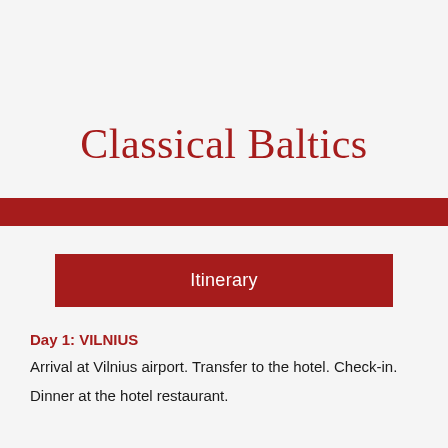Classical Baltics
Itinerary
Day 1: VILNIUS
Arrival at Vilnius airport. Transfer to the hotel. Check-in.
Dinner at the hotel restaurant.